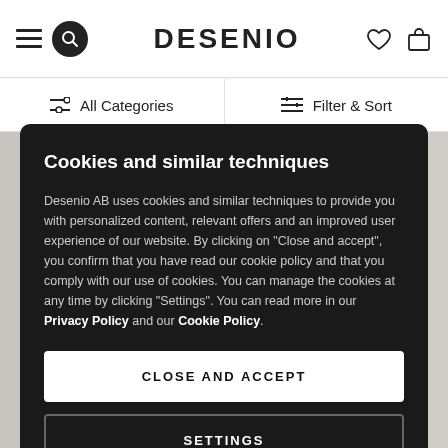DESENIO
All Categories
Filter & Sort
Cookies and similar techniques
Desenio AB uses cookies and similar techniques to provide you with personalized content, relevant offers and an improved user experience of our website. By clicking on "Close and accept", you confirm that you have read our cookie policy and that you comply with our use of cookies. You can manage the cookies at any time by clicking "Settings". You can read more in our Privacy Policy and our Cookie Policy.
CLOSE AND ACCEPT
SETTINGS